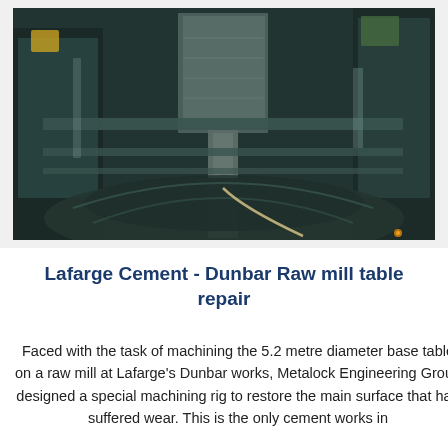[Figure (photo): Industrial photograph showing the interior of a raw mill at Lafarge's Dunbar works. The image shows large metal machinery components, including structural steel frames and machining equipment, with a dark blue-green industrial setting.]
Lafarge Cement - Dunbar Raw mill table repair
Faced with the task of machining the 5.2 metre diameter base table on a raw mill at Lafarge's Dunbar works, Metalock Engineering Group designed a special machining rig to restore the main surface that had suffered wear. This is the only cement works in